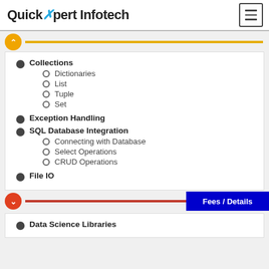QuickXpert Infotech
Collections
Dictionaries
List
Tuple
Set
Exception Handling
SQL Database Integration
Connecting with Database
Select Operations
CRUD Operations
File IO
Data Science Libraries